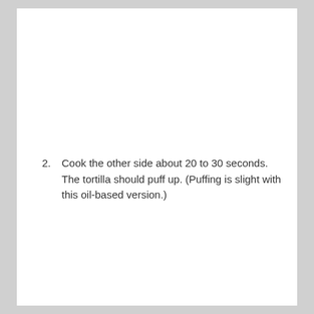2. Cook the other side about 20 to 30 seconds. The tortilla should puff up. (Puffing is slight with this oil-based version.)